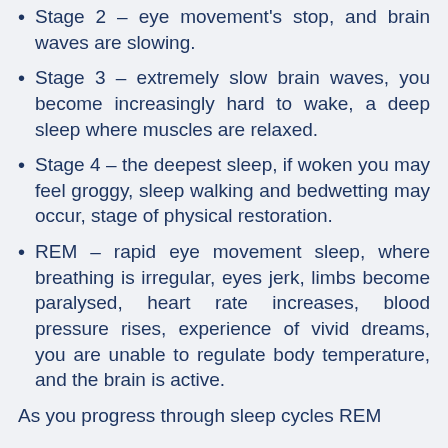Stage 2 – eye movement's stop, and brain waves are slowing.
Stage 3 – extremely slow brain waves, you become increasingly hard to wake, a deep sleep where muscles are relaxed.
Stage 4 – the deepest sleep, if woken you may feel groggy, sleep walking and bedwetting may occur, stage of physical restoration.
REM – rapid eye movement sleep, where breathing is irregular, eyes jerk, limbs become paralysed, heart rate increases, blood pressure rises, experience of vivid dreams, you are unable to regulate body temperature, and the brain is active.
As you progress through sleep cycles REM